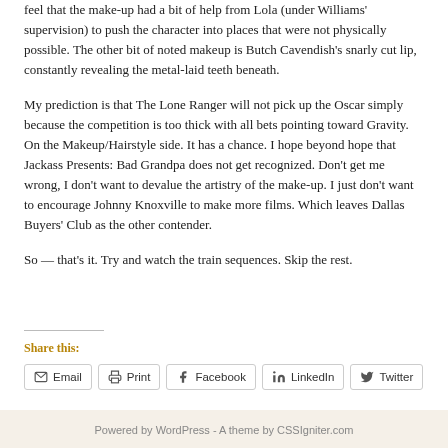feel that the make-up had a bit of help from Lola (under Williams' supervision) to push the character into places that were not physically possible.  The other bit of noted makeup is Butch Cavendish's snarly cut lip, constantly revealing the metal-laid teeth beneath.
My prediction is that The Lone Ranger will not pick up the Oscar simply because the competition is too thick with all bets pointing toward Gravity.  On the Makeup/Hairstyle side.  It has a chance.  I hope beyond hope that Jackass Presents: Bad Grandpa does not get recognized.  Don't get me wrong, I don't want to devalue the artistry of the make-up.  I just don't want to encourage Johnny Knoxville to make more films.  Which leaves Dallas Buyers' Club as the other contender.
So — that's it.  Try and watch the train sequences.  Skip the rest.
Share this:
Email
Print
Facebook
LinkedIn
Twitter
Powered by WordPress - A theme by CSSIgniter.com